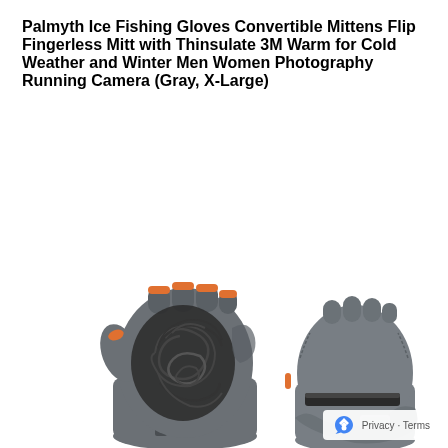Palmyth Ice Fishing Gloves Convertible Mittens Flip Fingerless Mitt with Thinsulate 3M Warm for Cold Weather and Winter Men Women Photography Running Camera (Gray, X-Large)
[Figure (photo): Two gray convertible fingerless mittens/gloves shown side by side. The left glove shows the palm side with the finger cover folded back, revealing a textured grip pattern. The right glove shows the back side with the finger cover partially open. Both gloves feature orange accents and are gray in color.]
Privacy · Terms